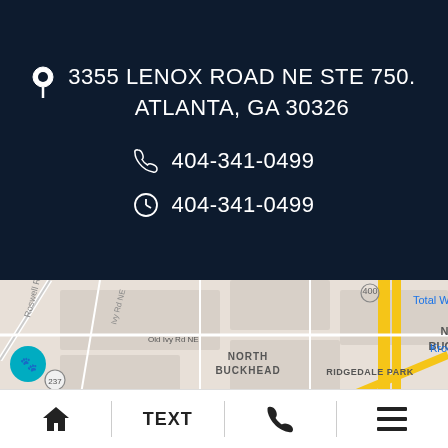3355 LENOX ROAD NE STE 750. ATLANTA, GA 30326
404-341-0499
404-341-0499
[Figure (map): Google Maps view showing North Buckhead area in Atlanta, GA with streets including Roswell Rd N, Old Ivy Rd NE, Ivy Rd NE, highway 400, and neighborhoods North Buckhead and Ridgedale Park. Kroger and Total Wi... labels visible. A teal pet-themed map pin is visible on the left side.]
Home | TEXT | Phone | Menu